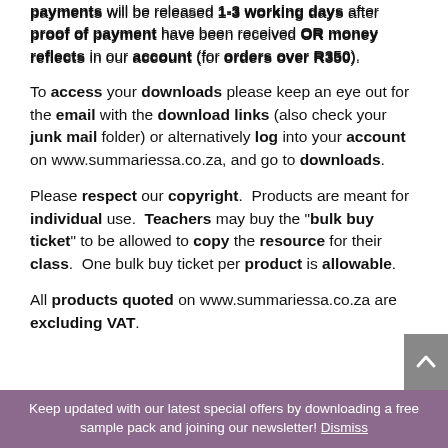payments will be released 1-3 working days after proof of payment have been received OR money reflects in our account (for orders over R350).
To access your downloads please keep an eye out for the email with the download links (also check your junk mail folder) or alternatively log into your account on www.summariessa.co.za, and go to downloads.
Please respect our copyright. Products are meant for individual use. Teachers may buy the "bulk buy ticket" to be allowed to copy the resource for their class. One bulk buy ticket per product is allowable.
All products quoted on www.summariessa.co.za are excluding VAT.
Keep updated with our latest special offers by downloading a free sample pack and joining our newsletter! Dismiss